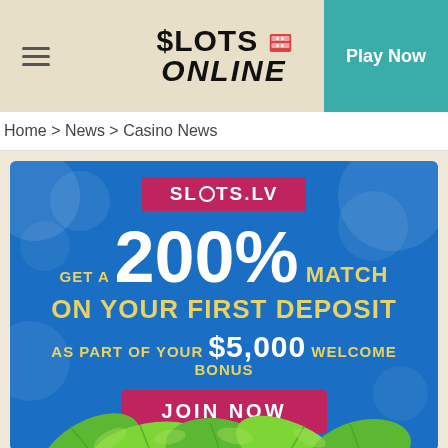$LOTS ONLINE | Play Now
Home > News > Casino News
[Figure (infographic): Slots.lv casino advertisement banner on blue bokeh background. Shows 'SLOTS.LV' logo in pink/red rectangle at top. Large white '200%' text with yellow text 'GET A 200% MATCH ON YOUR FIRST DEPOSIT AS PART OF YOUR $5,000 WELCOME BONUS'. Pink 'JOIN NOW' button. Green leaves at bottom.]